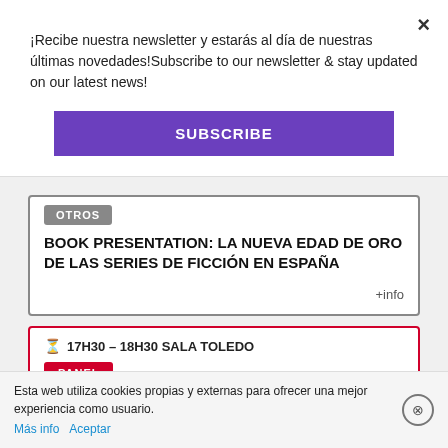¡Recibe nuestra newsletter y estarás al día de nuestras últimas novedades!Subscribe to our newsletter & stay updated on our latest news!
[Figure (other): Purple SUBSCRIBE button]
OTROS
BOOK PRESENTATION: LA NUEVA EDAD DE ORO DE LAS SERIES DE FICCIÓN EN ESPAÑA
+info
17H30 – 18H30 SALA TOLEDO
PANEL
Esta web utiliza cookies propias y externas para ofrecer una mejor experiencia como usuario.
Más info
Aceptar